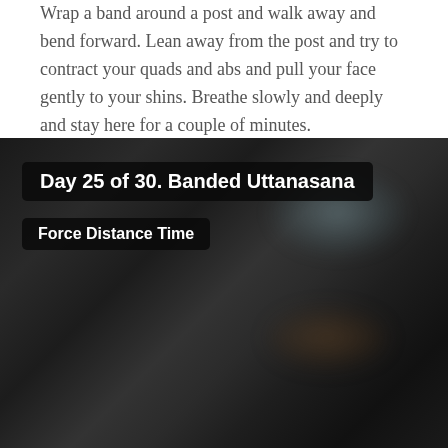Wrap a band around a post and walk away and bend forward. Lean away from the post and try to contract your quads and abs and pull your face gently to your shins. Breathe slowly and deeply and stay here for a couple of minutes.
[Figure (photo): Dark blurred video thumbnail showing an exercise/yoga scene, with overlay labels reading 'Day 25 of 30. Banded Uttanasana' and 'Force Distance Time']